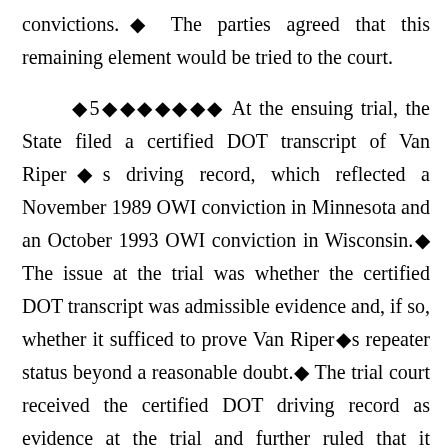convictions.◆ The parties agreed that this remaining element would be tried to the court.
◆5◆◆◆◆◆◆◆ At the ensuing trial, the State filed a certified DOT transcript of Van Riper◆s driving record, which reflected a November 1989 OWI conviction in Minnesota and an October 1993 OWI conviction in Wisconsin.◆ The issue at the trial was whether the certified DOT transcript was admissible evidence and, if so, whether it sufficed to prove Van Riper◆s repeater status beyond a reasonable doubt.◆ The trial court received the certified DOT driving record as evidence at the trial and further ruled that it established Van Riper◆s status as a repeat offender beyond a reasonable doubt.◆ Van Riper appeals from the conviction at trial for conviction.